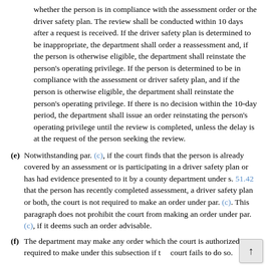whether the person is in compliance with the assessment order or the driver safety plan. The review shall be conducted within 10 days after a request is received. If the driver safety plan is determined to be inappropriate, the department shall order a reassessment and, if the person is otherwise eligible, the department shall reinstate the person's operating privilege. If the person is determined to be in compliance with the assessment or driver safety plan, and if the person is otherwise eligible, the department shall reinstate the person's operating privilege. If there is no decision within the 10-day period, the department shall issue an order reinstating the person's operating privilege until the review is completed, unless the delay is at the request of the person seeking the review.
(e) Notwithstanding par. (c), if the court finds that the person is already covered by an assessment or is participating in a driver safety plan or has had evidence presented to it by a county department under s. 51.42 that the person has recently completed assessment, a driver safety plan or both, the court is not required to make an order under par. (c). This paragraph does not prohibit the court from making an order under par. (c), if it deems such an order advisable.
(f) The department may make any order which the court is authorized or required to make under this subsection if the court fails to do so.